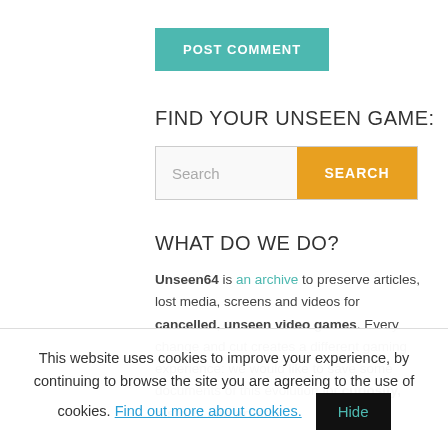[Figure (screenshot): POST COMMENT button in teal/green color]
FIND YOUR UNSEEN GAME:
[Figure (screenshot): Search bar with orange SEARCH button]
WHAT DO WE DO?
Unseen64 is an archive to preserve articles, lost media, screens and videos for cancelled, unseen video games. Every change and cut creates a different gaming experience: we would like to save some documents of this evolution for curiosity, historic and artistic
This website uses cookies to improve your experience, by continuing to browse the site you are agreeing to the use of cookies. Find out more about cookies. Hide